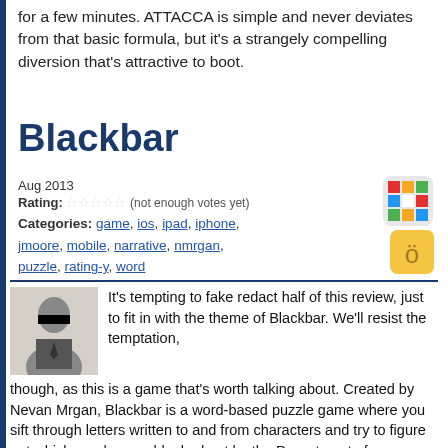for a few minutes. ATTACCA is simple and never deviates from that basic formula, but it's a strangely compelling diversion that's attractive to boot.
Blackbar
Aug 2013
Rating: ☆☆☆☆☆ (not enough votes yet)
Categories: game, ios, ipad, iphone, jmoore, mobile, narrative, nmrgan, puzzle, rating-y, word
[Figure (illustration): Colorful Rubik's cube icon]
[Figure (illustration): Yellow rounded square emoji with letter character]
It's tempting to fake redact half of this review, just to fit in with the theme of Blackbar. We'll resist the temptation, though, as this is a game that's worth talking about. Created by Nevan Mrgan, Blackbar is a word-based puzzle game where you sift through letters written to and from characters and try to figure out which words were blanked out by the Department of Communications. It's one part sci-fi story game, one part political statement, and three parts just plain awesome.